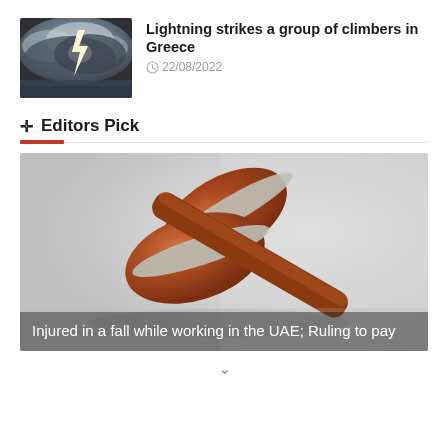[Figure (photo): Storm clouds with lightning in dark sky]
Lightning strikes a group of climbers in Greece
22/08/2022
✛  Editors Pick
[Figure (photo): Close-up of a wooden judge's gavel on a surface, warm brown tones]
Injured in a fall while working in the UAE; Ruling to pay